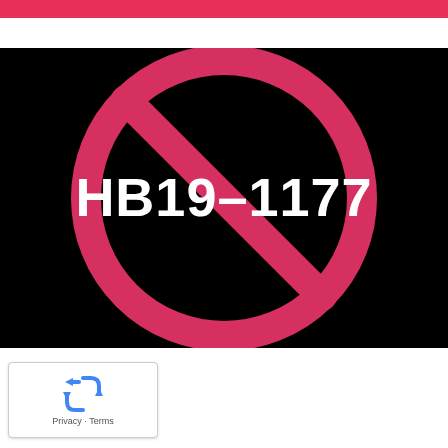[Figure (illustration): Black background with a large pink/red prohibition symbol (circle with diagonal slash) overlaid with white bold text reading HB19-1177]
[Figure (logo): reCAPTCHA widget with recycling arrows icon and text 'Privacy - Terms']